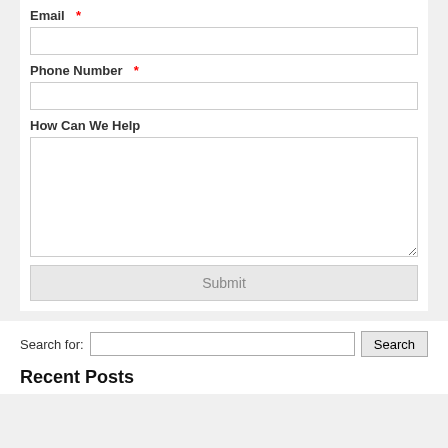Email *
Phone Number *
How Can We Help
Submit
Search for:
Recent Posts